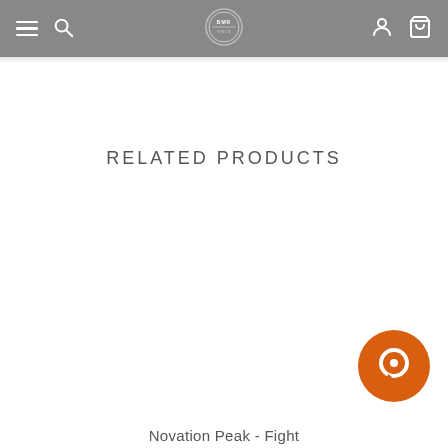Navigation bar with menu, search, logo, user, and cart icons
RELATED PRODUCTS
[Figure (other): Orange circular chat/messaging button icon in bottom right corner]
Novation Peak - Fight